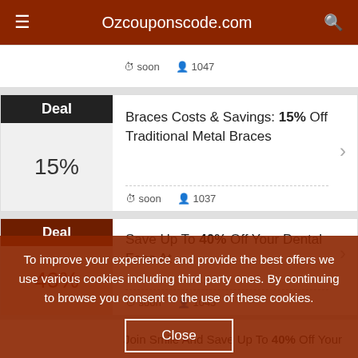Ozcouponscode.com
soon  1047
Braces Costs & Savings: 15% Off Traditional Metal Braces
soon  1037
Save Up To 40% Off Your Dental Fees At
soon  1045
To improve your experience and provide the best offers we use various cookies including third party ones. By continuing to browse you consent to the use of these cookies.
Close
Join Smile And Save Up To 40% Off Your